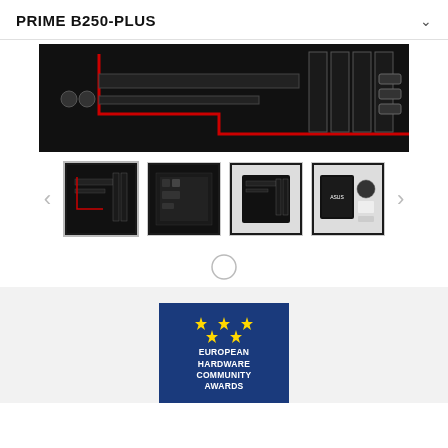PRIME B250-PLUS
[Figure (photo): Close-up photo of ASUS PRIME B250-PLUS motherboard PCIe slots and components, dark PCB with red accent lines]
[Figure (photo): Four thumbnail images of the ASUS PRIME B250-PLUS: front view, rear/IO panel view, top-down view, and product box with accessories]
[Figure (illustration): Circular carousel indicator dot (unfilled/outline circle)]
[Figure (logo): European Hardware Community Awards badge: dark blue rectangle with EU stars and bold white text reading EUROPEAN HARDWARE COMMUNITY AWARDS]